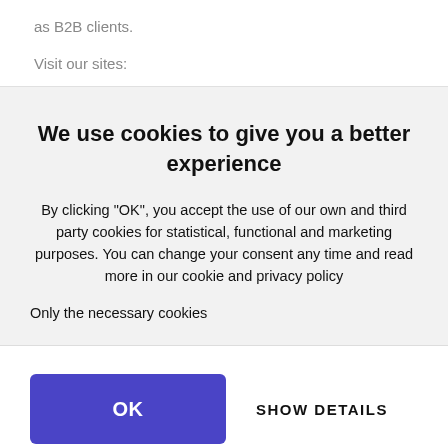as B2B clients.
Visit our sites:
We use cookies to give you a better experience
By clicking "OK", you accept the use of our own and third party cookies for statistical, functional and marketing purposes. You can change your consent any time and read more in our cookie and privacy policy
Only the necessary cookies
OK
SHOW DETAILS